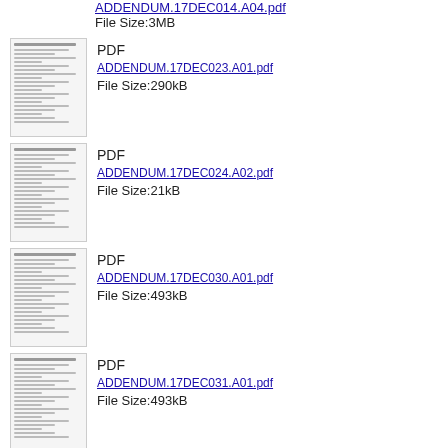ADDENDUM.17DEC014.A04.pdf
File Size:3MB
PDF
ADDENDUM.17DEC023.A01.pdf
File Size:290kB
PDF
ADDENDUM.17DEC024.A02.pdf
File Size:21kB
PDF
ADDENDUM.17DEC030.A01.pdf
File Size:493kB
PDF
ADDENDUM.17DEC031.A01.pdf
File Size:493kB
PDF
ADDENDUM.17DEC033.A02.pdf
File Size:695kB
PDF
ADDENDUM.17DEC152.A02.pdf
File Size:266kB